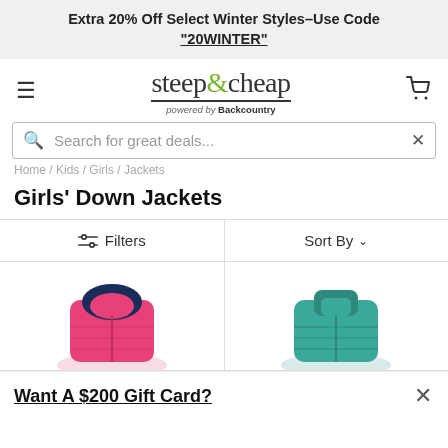Extra 20% Off Select Winter Styles–Use Code "20WINTER"
[Figure (logo): steep&cheap powered by Backcountry logo]
Search for great deals...
Home / Kids / Girls / Jackets
Girls' Down Jackets
Filters
Sort By
[Figure (photo): Pink girls down jacket product thumbnail]
[Figure (photo): Teal girls down jacket product thumbnail]
Want A $200 Gift Card?